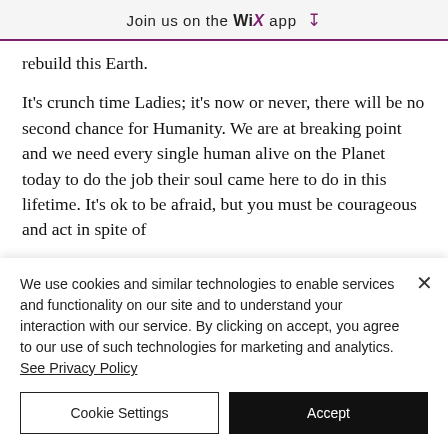Join us on the WiX app ⬇
rebuild this Earth.
It's crunch time Ladies; it's now or never, there will be no second chance for Humanity. We are at breaking point and we need every single human alive on the Planet today to do the job their soul came here to do in this lifetime. It's ok to be afraid, but you must be courageous and act in spite of
We use cookies and similar technologies to enable services and functionality on our site and to understand your interaction with our service. By clicking on accept, you agree to our use of such technologies for marketing and analytics. See Privacy Policy
Cookie Settings
Accept